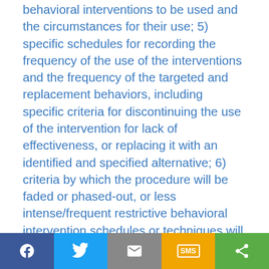behavioral interventions to be used and the circumstances for their use; 5) specific schedules for recording the frequency of the use of the interventions and the frequency of the targeted and replacement behaviors, including specific criteria for discontinuing the use of the intervention for lack of effectiveness, or replacing it with an identified and specified alternative; 6) criteria by which the procedure will be faded or phased-out, or less intense/frequent restrictive behavioral intervention schedules or techniques will be used; 7) those behavioral interventions which
[Figure (other): Social share bar with Facebook, Twitter, Email, SMS, and Share buttons]